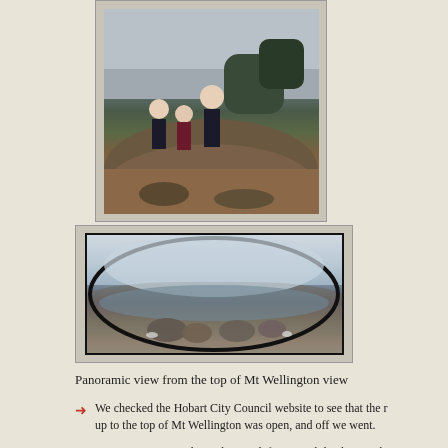[Figure (photo): Family group of people standing on rocks at the top of Mt Wellington, with trees and cloudy sky in background]
[Figure (photo): Panoramic view from the top of Mt Wellington showing rocky foreground, city of Hobart in the distance, and overcast sky]
Panoramic view from the top of Mt Wellington view
We checked the Hobart City Council website to see that the road up to the top of Mt Wellington was open, and off we went.
It was raining in Hobart when we left, so we didn't know what we would find when we got to the top. Turned out to be overcast,